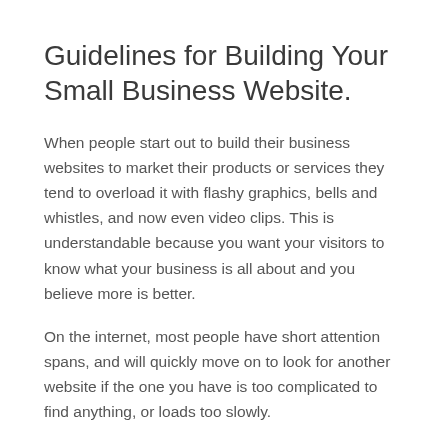Guidelines for Building Your Small Business Website.
When people start out to build their business websites to market their products or services they tend to overload it with flashy graphics, bells and whistles, and now even video clips. This is understandable because you want your visitors to know what your business is all about and you believe more is better.
On the internet, most people have short attention spans, and will quickly move on to look for another website if the one you have is too complicated to find anything, or loads too slowly.
Speed is of the essence these days and even a consideration is taken by Google on how they are going to rank your business website.